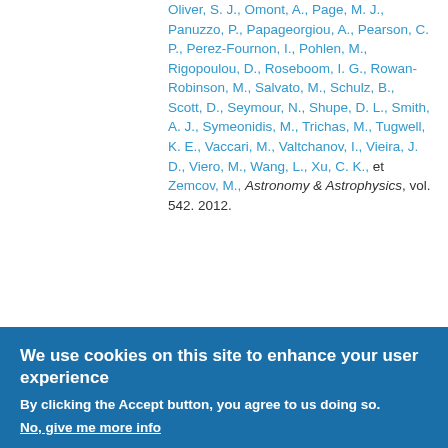Oliver, S. J., Omont, A., Page, M. J., Panuzzo, P., Papageorgiou, A., Pearson, C. P., Perez-Fournon, I., Pohlen, M., Rigopoulou, D., Roseboom, I. G., Rowan-Robinson, M., Salvato, M., Schulz, B., Scott, D., Seymour, N., Shupe, D. L., Smith, A. J., Symeonidis, M., Trichas, M., Tugwell, K. E., Vaccari, M., Valtchanov, I., Vieira, J. D., Viero, M., Wang, L., Xu, C. K., et Zemcov, M., Astronomy & Astrophysics, vol. 542. 2012.
2011
M. Jauzac, Dole, H., Le Floc'h, E., Aussel, H., Caputi, K., Ilbert, O., Salvato, M., Bavouzet, N., Betlen, A., Bethermin, M., Kneib, J. P.
We use cookies on this site to enhance your user experience
By clicking the Accept button, you agree to us doing so.
No, give me more info